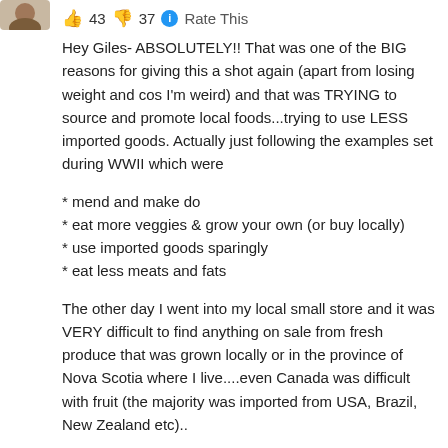[Figure (photo): Small avatar/profile image in top left corner]
👍 43 👎 37 ℹ Rate This
Hey Giles- ABSOLUTELY!! That was one of the BIG reasons for giving this a shot again (apart from losing weight and cos I'm weird) and that was TRYING to source and promote local foods...trying to use LESS imported goods. Actually just following the examples set during WWII which were
* mend and make do
* eat more veggies & grow your own (or buy locally)
* use imported goods sparingly
* eat less meats and fats
The other day I went into my local small store and it was VERY difficult to find anything on sale from fresh produce that was grown locally or in the province of Nova Scotia where I live....even Canada was difficult with fruit (the majority was imported from USA, Brazil, New Zealand etc)..
It was the same when I lived in the UK and I guess it is still the same?